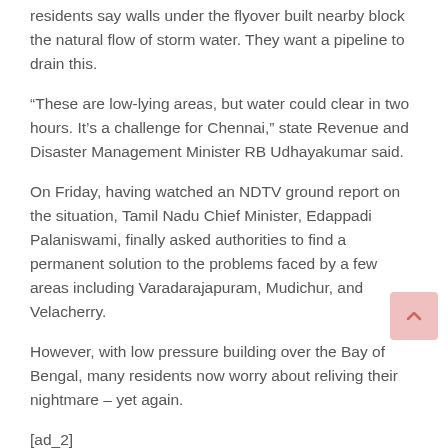residents say walls under the flyover built nearby block the natural flow of storm water. They want a pipeline to drain this.
“These are low-lying areas, but water could clear in two hours. It’s a challenge for Chennai,” state Revenue and Disaster Management Minister RB Udhayakumar said.
On Friday, having watched an NDTV ground report on the situation, Tamil Nadu Chief Minister, Edappadi Palaniswami, finally asked authorities to find a permanent solution to the problems faced by a few areas including Varadarajapuram, Mudichur, and Velacherry.
However, with low pressure building over the Bay of Bengal, many residents now worry about reliving their nightmare – yet again.
[ad_2]
Source link
Tags: Chennai Flood, Cyclone Nivar, Cyclone Nivar in Chennai